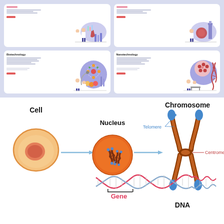[Figure (screenshot): Four biotechnology/nanotechnology themed web page mockups arranged in a 2x2 grid on a light blue-purple background. Top-left and top-right cards show science lab scenes. Bottom-left card labeled 'Biotechnology' with scientists and molecular structures. Bottom-right card labeled 'Nanotechnology' with DNA helix and scientists.]
[Figure (illustration): Scientific diagram showing the relationship between Cell, Nucleus, Chromosome, Gene, and DNA. A cell (orange/peach colored) with arrow pointing to nucleus (orange sphere with chromosomes inside), then arrow to Chromosome (X-shaped brown/red chromosome with labels: Telomere pointing to blue tips, Centromere pointing to the central constriction). Below the nucleus is a DNA double helix with 'Gene' label (red text) and a bracket indicating a gene region. 'DNA' label in black at the bottom right.]